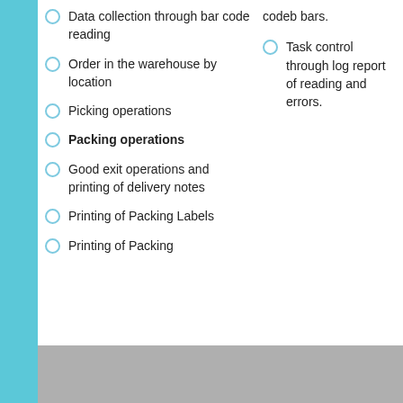Data collection through bar code reading
Order in the warehouse by location
Picking operations
Packing operations
Good exit operations and printing of delivery notes
Printing of Packing Labels
Printing of Packing
codeb bars.
Task control through log report of reading and errors.
SUSCRIBITE AL NEWSLETTER
Name
E-mail